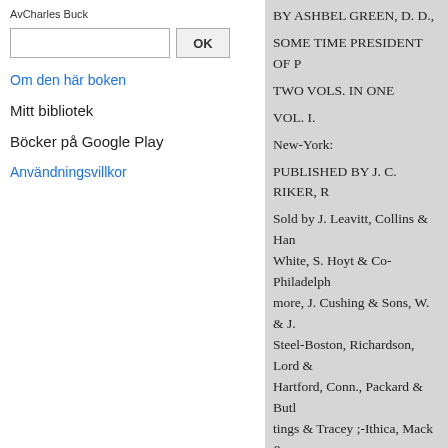AvCharles Buck
Om den här boken
Mitt bibliotek
Böcker på Google Play
Användningsvillkor
BY ASHBEL GREEN, D. D.,
SOME TIME PRESIDENT OF P
TWO VOLS. IN ONE
VOL. I.
New-York:
PUBLISHED BY J. C. RIKER, R
Sold by J. Leavitt, Collins & Han
White, S. Hoyt & Co-Philadelph
more, J. Cushing & Sons, W. & J.
Steel-Boston, Richardson, Lord &
Hartford, Conn., Packard & Butl
tings & Tracey ;-Ithica, Mack &
S. Beckwith;-Richmond, R. J. Sm